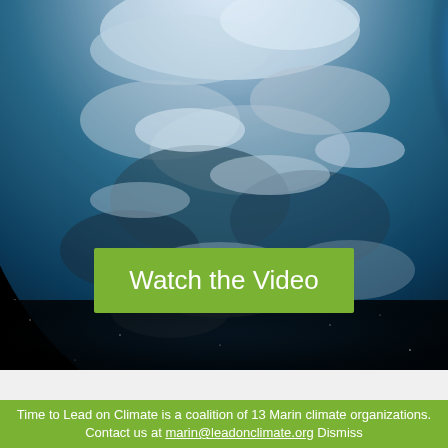[Figure (photo): Aerial photograph of Earth from space showing clouds, landmass, and blue atmosphere glow against a black starfield background.]
Watch the Video
Time to Lead on Climate is a coalition of 13 Marin climate organizations. Contact us at marin@leadonclimate.org Dismiss